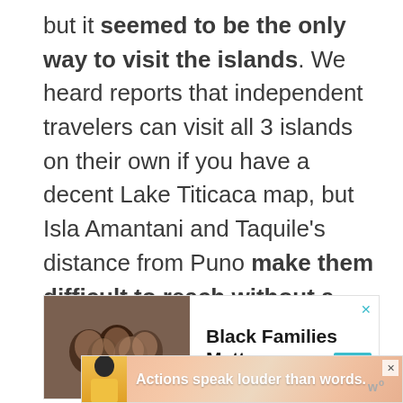but it seemed to be the only way to visit the islands. We heard reports that independent travelers can visit all 3 islands on their own if you have a decent Lake Titicaca map, but Isla Amantani and Taquile's distance from Puno make them difficult to reach without a bigger boat.
[Figure (photo): Advertisement banner: photo of smiling Black family members, text 'Black Families Matter', with close (x) button in teal and teal scroll-up arrow button]
[Figure (photo): Advertisement banner with pink/coral gradient background, figure of person in yellow jacket, white bold text 'Actions speak louder than words.', with close X buttons and 'w°' logo]